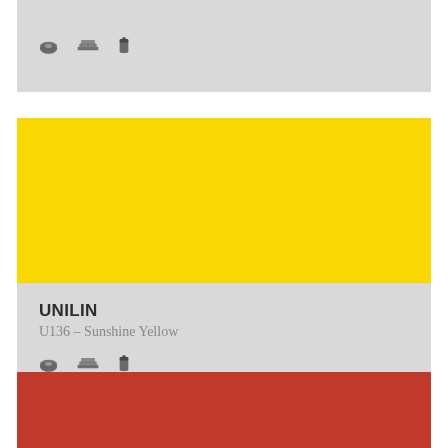[Figure (other): Top grey card with three small product/format icons]
[Figure (other): Yellow color swatch block labeled UNILIN U136 Sunshine Yellow with three format icons below]
[Figure (other): Red color swatch block partially visible at bottom of page]